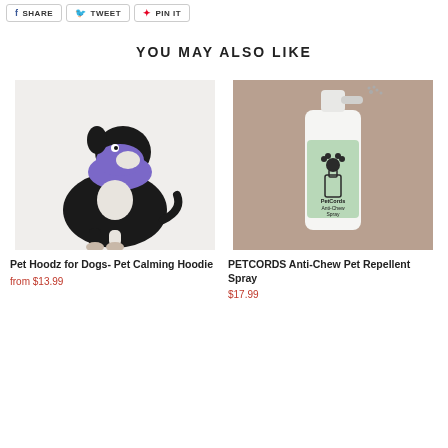SHARE  TWEET  PIN IT
YOU MAY ALSO LIKE
[Figure (photo): Black and white dog wearing a purple calming hoodie, sitting and looking up, on white background]
Pet Hoodz for Dogs- Pet Calming Hoodie
from $13.99
[Figure (photo): White spray bottle with green label reading PetCords Anti-Chew Spray, on brown background]
PETCORDS Anti-Chew Pet Repellent Spray
$17.99